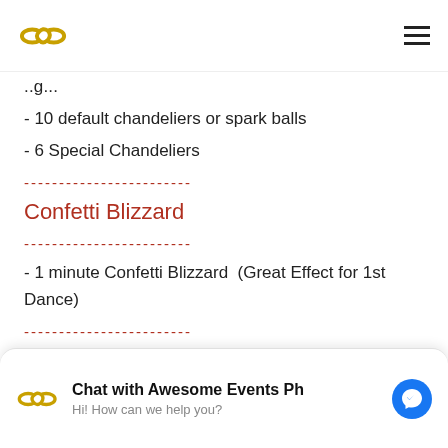Awesome Events Ph logo and navigation
- 10 default chandeliers or spark balls
- 6 Special Chandeliers
Confetti Blizzard
- 1 minute Confetti Blizzard  (Great Effect for 1st Dance)
On the Day Coordination with Emcee
- Program Emcee
- 1 Bride Manager to assist the bride throughout the day
Chat with Awesome Events Ph — Hi! How can we help you?